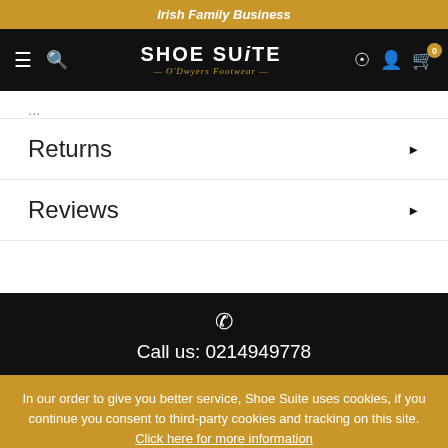Irish Family Business
[Figure (screenshot): Shoe Suite O'Dwyers Footwear navigation bar with hamburger menu, search icon, logo, location pin, account, and cart icons on black background]
Returns
Reviews
Call us: 0214949778
In our order to give you better service, Shoe Suite uses cookies, if you continue you consent to third-party cookies and tracking on this site. Click here for more information
→ I AGREE